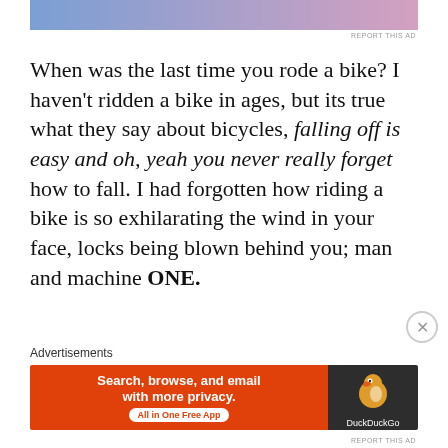[Figure (other): Top advertisement banner with blue-to-pink gradient]
When was the last time you rode a bike? I haven't ridden a bike in ages, but its true what they say about bicycles, falling off is easy and oh, yeah you never really forget how to fall. I had forgotten how riding a bike is so exhilarating the wind in your face, locks being blown behind you; man and machine ONE.
[Figure (other): DuckDuckGo advertisement banner: Search, browse, and email with more privacy. All in One Free App. DuckDuckGo logo on dark background.]